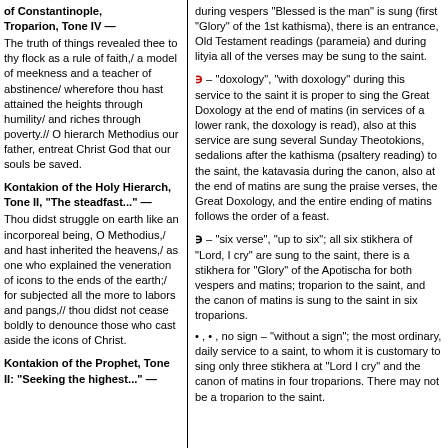of Constantinople, Troparion, Tone IV —
The truth of things revealed thee to thy flock as a rule of faith,/ a model of meekness and a teacher of abstinence/ wherefore thou hast attained the heights through humility/ and riches through poverty.// O hierarch Methodius our father, entreat Christ God that our souls be saved.
Kontakion of the Holy Hierarch, Tone II, "The steadfast..." —
Thou didst struggle on earth like an incorporeal being, O Methodius,/ and hast inherited the heavens,/ as one who explained the veneration of icons to the ends of the earth;/ for subjected all the more to labors and pangs,// thou didst not cease boldly to denounce those who cast aside the icons of Christ.
Kontakion of the Prophet, Tone II: "Seeking the highest..." —
during vespers "Blessed is the man" is sung (first "Glory" of the 1st kathisma), there is an entrance, Old Testament readings (parameia) and during lityia all of the verses may be sung to the saint.
– "doxology", "with doxology" during this service to the saint it is proper to sing the Great Doxology at the end of matins (in services of a lower rank, the doxology is read), also at this service are sung several Sunday Theotokions, sedalions after the kathisma (psaltery reading) to the saint, the katavasia during the canon, also at the end of matins are sung the praise verses, the Great Doxology, and the entire ending of matins follows the order of a feast.
– "six verse", "up to six"; all six stikhera of "Lord, I cry" are sung to the saint, there is a stikhera for "Glory" of the Apotischa for both vespers and matins; troparion to the saint, and the canon of matins is sung to the saint in six troparions.
, no sign – "without a sign"; the most ordinary, daily service to a saint, to whom it is customary to sing only three stikhera at "Lord I cry" and the canon of matins in four troparions. There may not be a troparion to the saint.